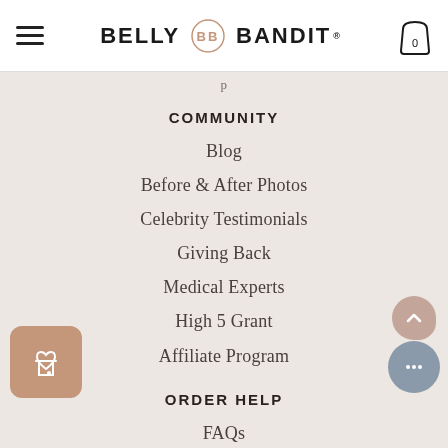BELLY BANDIT
COMMUNITY
Blog
Before & After Photos
Celebrity Testimonials
Giving Back
Medical Experts
High 5 Grant
Affiliate Program
ORDER HELP
FAQs
Sizing Guide